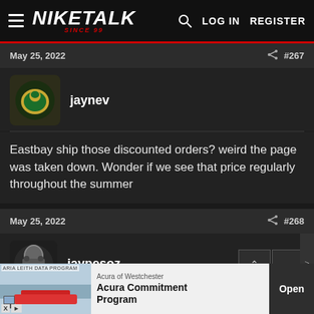NIKETALK SINCE 99 — LOG IN   REGISTER
May 25, 2022   #267
jaynev
Eastbay ship those discounted orders? weird the page was taken down. Wonder if we see that price regularly throughout the summer
May 25, 2022   #268
jaypesoz
[Figure (screenshot): Acura of Westchester advertisement banner at the bottom showing 'Acura Commitment Program' with Open button]